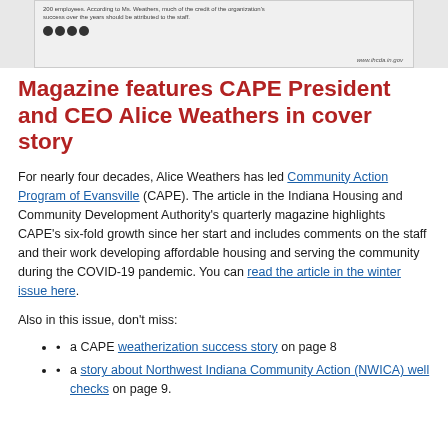[Figure (screenshot): Top portion of an IHCDA magazine newsletter page showing partial text about 200 employees and Alice Weathers, social media icons, and the URL www.ihcda.in.gov]
Magazine features CAPE President and CEO Alice Weathers in cover story
For nearly four decades, Alice Weathers has led Community Action Program of Evansville (CAPE). The article in the Indiana Housing and Community Development Authority's quarterly magazine highlights CAPE's six-fold growth since her start and includes comments on the staff and their work developing affordable housing and serving the community during the COVID-19 pandemic. You can read the article in the winter issue here.
Also in this issue, don't miss:
a CAPE weatherization success story on page 8
a story about Northwest Indiana Community Action (NWICA) well checks on page 9.